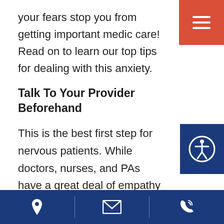your fears stop you from getting important medical care! Read on to learn our top tips for dealing with this anxiety.
Talk To Your Provider Beforehand
This is the best first step for nervous patients. While doctors, nurses, and PAs have a great deal of empathy for their patients, they perform numerous blood tests on any given day. Letting them know that you are afraid of needles will tell them that you might need some extra time and reassurance during the procedure.
Location | Email | Phone